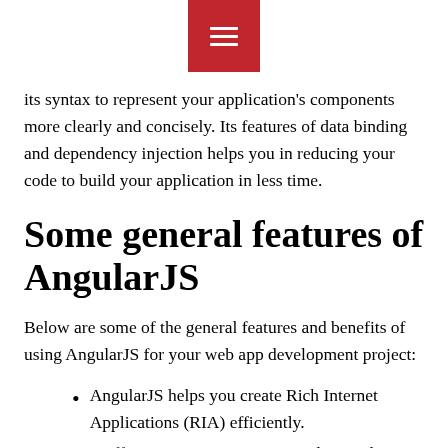[Figure (other): Red hamburger menu icon button centered at top of page]
its syntax to represent your application's components more clearly and concisely. Its features of data binding and dependency injection helps you in reducing your code to build your application in less time.
Some general features of AngularJS
Below are some of the general features and benefits of using AngularJS for your web app development project:
AngularJS helps you create Rich Internet Applications (RIA) efficiently.
It offers you an option to write client-side